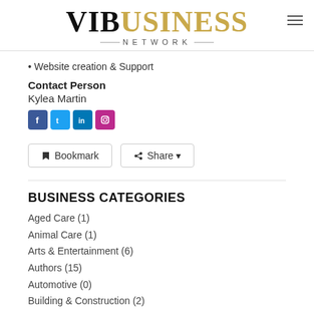VIBUSINESS NETWORK
• Website creation & Support
Contact Person
Kylea Martin
[Figure (illustration): Social media icons: Facebook, Twitter, LinkedIn, Instagram]
Bookmark  Share
BUSINESS CATEGORIES
Aged Care (1)
Animal Care (1)
Arts & Entertainment (6)
Authors (15)
Automotive (0)
Building & Construction (2)